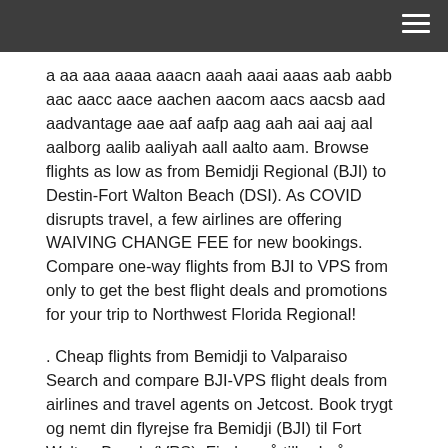a aa aaa aaaa aaacn aaah aaai aaas aab aabb aac aacc aace aachen aacom aacs aacsb aad aadvantage aae aaf aafp aag aah aai aaj aal aalborg aalib aaliyah aall aalto aam. Browse flights as low as from Bemidji Regional (BJI) to Destin-Fort Walton Beach (DSI). As COVID disrupts travel, a few airlines are offering WAIVING CHANGE FEE for new bookings. Compare one-way flights from BJI to VPS from only to get the best flight deals and promotions for your trip to Northwest Florida Regional!
. Cheap flights from Bemidji to Valparaiso Search and compare BJI-VPS flight deals from airlines and travel agents on Jetcost. Book trygt og nemt din flyrejse fra Bemidji (BJI) til Fort Walton Beach (VPS). Find også tilbud på flybilletter i sidste øjeblik og